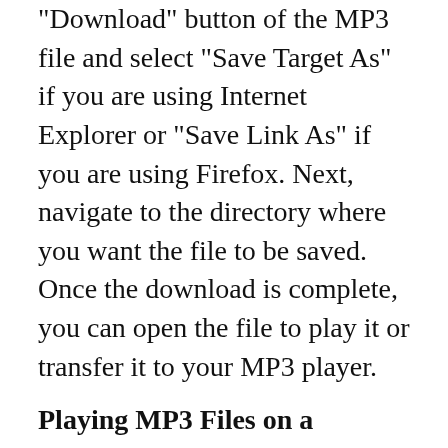"Download" button of the MP3 file and select "Save Target As" if you are using Internet Explorer or "Save Link As" if you are using Firefox. Next, navigate to the directory where you want the file to be saved. Once the download is complete, you can open the file to play it or transfer it to your MP3 player.
Playing MP3 Files on a